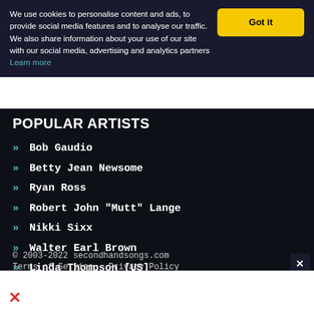We use cookies to personalise content and ads, to provide social media features and to analyse our traffic. We also share information about your use of our site with our social media, advertising and analytics partners Learn more
POPULAR ARTISTS
Bob Gaudio
Betty Jean Newsome
Ryan Ross
Robert John "Mutt" Lange
Nikki Sixx
Walter Earl Brown
Linda Thompson [US]
The-Dream
Hal Bynum
Linda Kaye Henning
© 2003-2022 secondhandsongs.com
Terms of Service · Privacy Policy